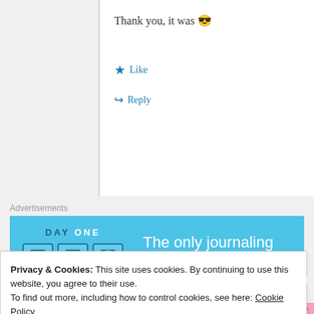Thank you, it was 😎
★ Like
↪ Reply
Advertisements
[Figure (illustration): Day One app advertisement banner: blue background with Day One logo, three icons (notebook, person, notepad), and text 'The only journaling app you'll ever need.']
debsdialogue
26th Jun 2019 at 11:31 am
Privacy & Cookies: This site uses cookies. By continuing to use this website, you agree to their use. To find out more, including how to control cookies, see here: Cookie Policy
Close and accept